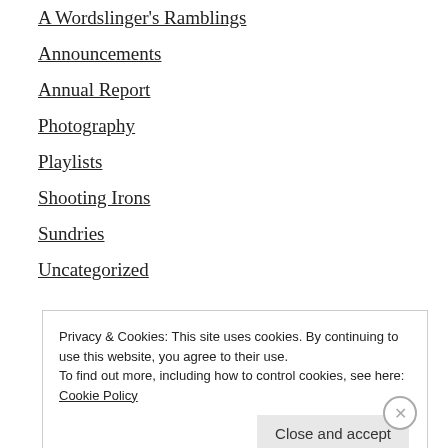A Wordslinger's Ramblings
Announcements
Annual Report
Photography
Playlists
Shooting Irons
Sundries
Uncategorized
META
Privacy & Cookies: This site uses cookies. By continuing to use this website, you agree to their use.
To find out more, including how to control cookies, see here: Cookie Policy
Close and accept